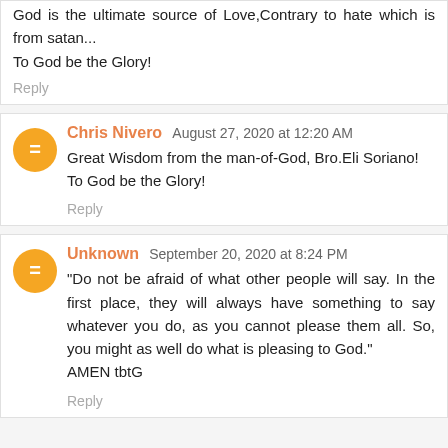God is the ultimate source of Love,Contrary to hate which is from satan...
To God be the Glory!
Reply
Chris Nivero August 27, 2020 at 12:20 AM
Great Wisdom from the man-of-God, Bro.Eli Soriano!
To God be the Glory!
Reply
Unknown September 20, 2020 at 8:24 PM
"Do not be afraid of what other people will say. In the first place, they will always have something to say whatever you do, as you cannot please them all. So, you might as well do what is pleasing to God."
AMEN tbtG
Reply